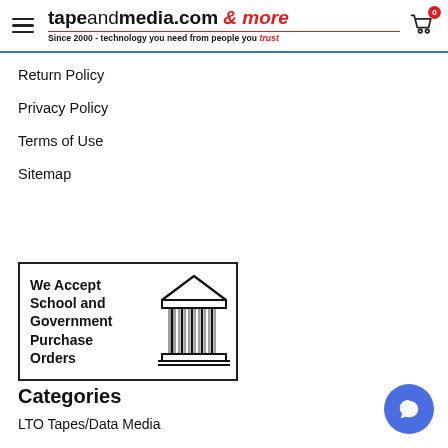tapeandmedia.com & more — Since 2000 - technology you need from people you trust
Return Policy
Privacy Policy
Terms of Use
Sitemap
[Figure (illustration): We Accept School and Government Purchase Orders banner with a building/column illustration]
Categories
LTO Tapes/Data Media